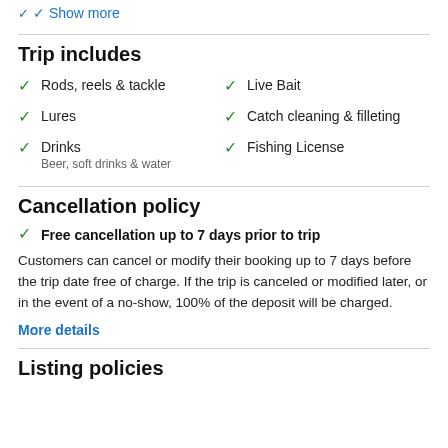Show more
Trip includes
Rods, reels & tackle
Live Bait
Lures
Catch cleaning & filleting
Drinks
Beer, soft drinks & water
Fishing License
Cancellation policy
Free cancellation up to 7 days prior to trip
Customers can cancel or modify their booking up to 7 days before the trip date free of charge. If the trip is canceled or modified later, or in the event of a no-show, 100% of the deposit will be charged.
More details
Listing policies